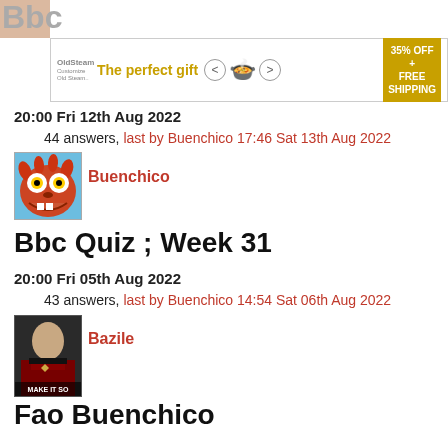[Figure (other): Advertisement banner: 'The perfect gift' with food bowl image and '35% OFF + FREE SHIPPING' offer]
20:00 Fri 12th Aug 2022
44 answers, last by Buenchico 17:46 Sat 13th Aug 2022
[Figure (photo): Avatar of Buenchico - the Animal muppet character with red fur and googly eyes]
Buenchico
Bbc Quiz ; Week 31
20:00 Fri 05th Aug 2022
43 answers, last by Buenchico 14:54 Sat 06th Aug 2022
[Figure (photo): Avatar of Bazile - Captain Picard 'Make It So' meme image]
Bazile
Fao Buenchico